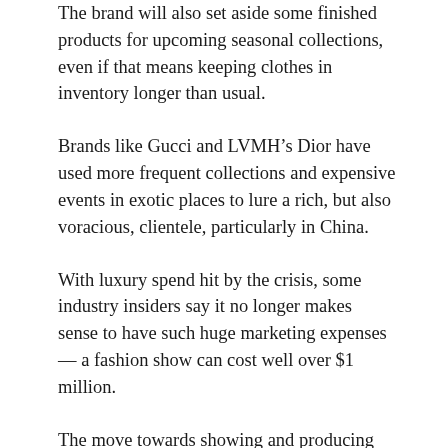The brand will also set aside some finished products for upcoming seasonal collections, even if that means keeping clothes in inventory longer than usual.
Brands like Gucci and LVMH’s Dior have used more frequent collections and expensive events in exotic places to lure a rich, but also voracious, clientele, particularly in China.
With luxury spend hit by the crisis, some industry insiders say it no longer makes sense to have such huge marketing expenses — a fashion show can cost well over $1 million.
The move towards showing and producing less also reflects a power shift between brands and big U.S. department stores, which long dictated the timing of product releases to keep their stands looking fresh.